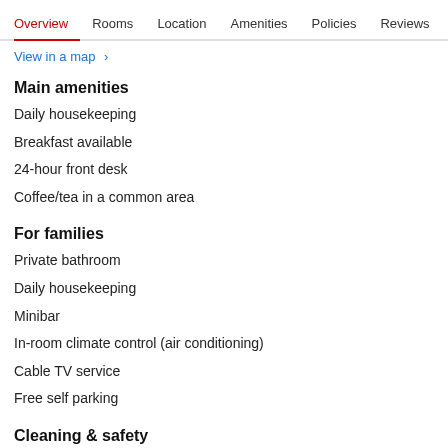Overview  Rooms  Location  Amenities  Policies  Reviews
View in a map  >
Main amenities
Daily housekeeping
Breakfast available
24-hour front desk
Coffee/tea in a common area
For families
Private bathroom
Daily housekeeping
Minibar
In-room climate control (air conditioning)
Cable TV service
Free self parking
Cleaning & safety